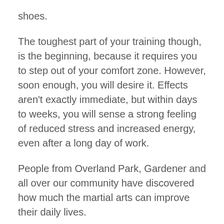shoes.
The toughest part of your training though, is the beginning, because it requires you to step out of your comfort zone. However, soon enough, you will desire it. Effects aren't exactly immediate, but within days to weeks, you will sense a strong feeling of reduced stress and increased energy, even after a long day of work.
People from Overland Park, Gardener and all over our community have discovered how much the martial arts can improve their daily lives.
You will gain peace of mind and a balance of emotions that will keep you looking forward to your next class.
Sincerely,